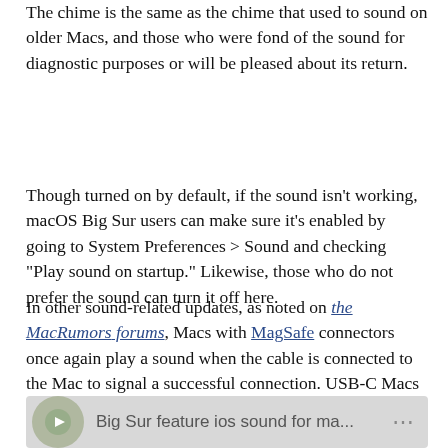The chime is the same as the chime that used to sound on older Macs, and those who were fond of the sound for diagnostic purposes or will be pleased about its return.
Though turned on by default, if the sound isn't working, macOS Big Sur users can make sure it's enabled by going to System Preferences > Sound and checking "Play sound on startup." Likewise, those who do not prefer the sound can turn it off here.
In other sound-related updates, as noted on the MacRumors forums, Macs with MagSafe connectors once again play a sound when the cable is connected to the Mac to signal a successful connection. USB-C Macs have long had this feature, but it has been missing for older Macs that use MagSafe.
[Figure (screenshot): Video thumbnail showing 'Big Sur feature ios sound for ma...' with a play icon and a three-dot menu button]